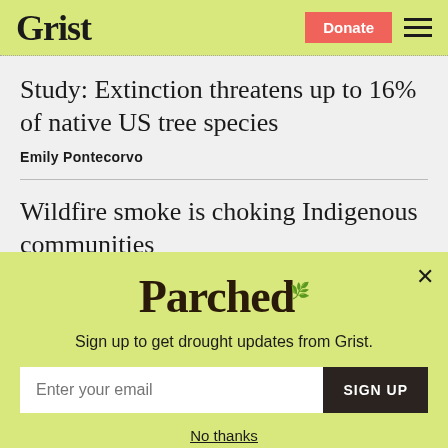Grist | Donate | [menu]
Study: Extinction threatens up to 16% of native US tree species
Emily Pontecorvo
Wildfire smoke is choking Indigenous communities
Diana Kruzman
[Figure (other): Parchea newsletter signup popup overlay with logo, subtitle 'Sign up to get drought updates from Grist.', email input field, SIGN UP button, and 'No thanks' link]
Sign up to get drought updates from Grist.
No thanks